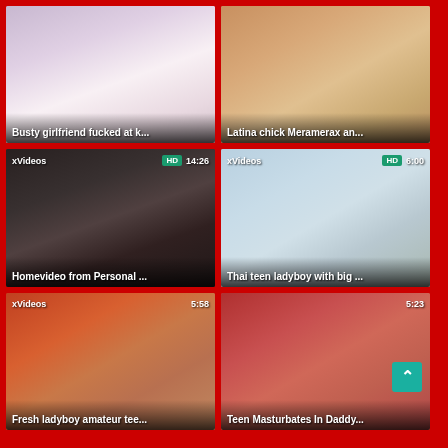[Figure (screenshot): Video thumbnail grid showing 6 adult video thumbnails in a 2x3 grid on a red background. Top-left: 'Busty girlfriend fucked at k...', Top-right: 'Latina chick Meramerax an...', Middle-left: 'Homevideo from Personal ...' with xVideos label, HD badge, 14:26 duration, Middle-right: 'Thai teen ladyboy with big ...' with xVideos label, HD badge, 6:00 duration, Bottom-left: 'Fresh ladyboy amateur tee...' with xVideos label, 5:58 duration, Bottom-right: 'Teen Masturbates In Daddy...' with 5:23 duration and scroll-up button]